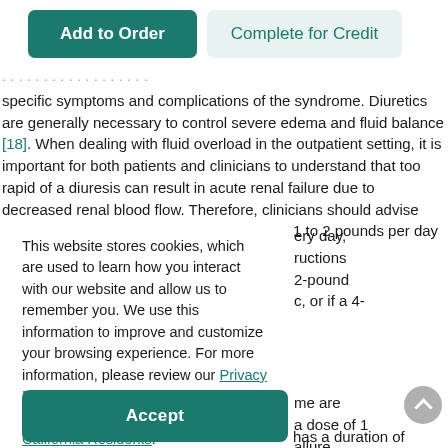Add to Order | Complete for Credit
specific symptoms and complications of the syndrome. Diuretics are generally necessary to control severe edema and fluid balance [18]. When dealing with fluid overload in the outpatient setting, it is important for both patients and clinicians to understand that too rapid of a diuresis can result in acute renal failure due to decreased renal blood flow. Therefore, clinicians should advise patients that a weight loss of approximately 1 to 2 pounds per day is the maximum target.
This website stores cookies, which are used to learn how you interact with our website and allow us to remember you. We use this information to improve and customize your browsing experience. For more information, please review our Privacy Policy. If you are a California resident, please review our Privacy Notice for California Residents.
every day, instructions 2-pound c, or if a 4-
me are a dose of 1 allure otoxicity.
Patients should be advised that furosemide has a duration of action of